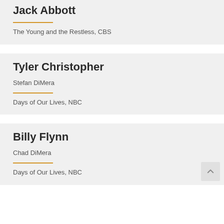Jack Abbott
The Young and the Restless, CBS
Tyler Christopher
Stefan DiMera
Days of Our Lives, NBC
Billy Flynn
Chad DiMera
Days of Our Lives, NBC